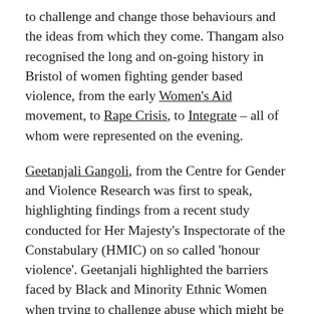to challenge and change those behaviours and the ideas from which they come. Thangam also recognised the long and on-going history in Bristol of women fighting gender based violence, from the early Women's Aid movement, to Rape Crisis, to Integrate – all of whom were represented on the evening.
Geetanjali Gangoli, from the Centre for Gender and Violence Research was first to speak, highlighting findings from a recent study conducted for Her Majesty's Inspectorate of the Constabulary (HMIC) on so called 'honour violence'. Geetanjali highlighted the barriers faced by Black and Minority Ethnic Women when trying to challenge abuse which might be categorised as honour based. She recognised that for some of the women in the research other relatives, including male relatives, were sometimes the ones to encourage victims/survivors to seek justice through